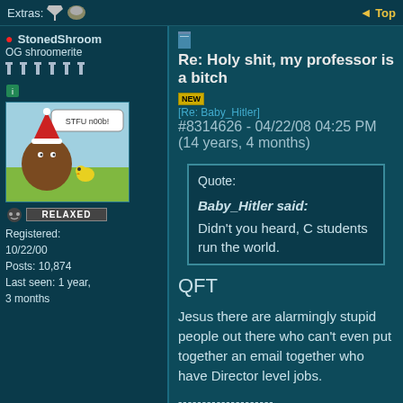Extras: [icons] Top
Re: Holy shit, my professor is a bitch [NEW] [Re: Baby_Hitler] #8314626 - 04/22/08 04:25 PM (14 years, 4 months)
StonedShroom
OG shroomerite
Registered: 10/22/00
Posts: 10,874
Last seen: 1 year, 3 months
Quote:
Baby_Hitler said:
Didn't you heard, C students run the world.
QFT

Jesus there are alarmingly stupid people out there who can't even put together an email together who have Director level jobs.

--------------------
We are not human beings going through a temporary spiritual experience.

We are spiritual beings going through a temporary